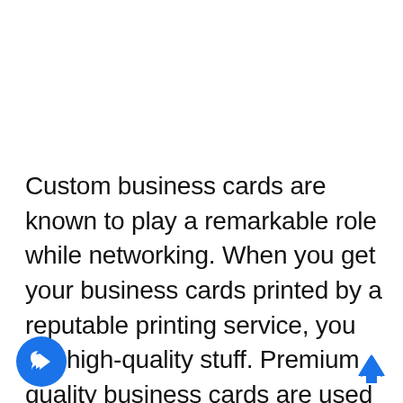Custom business cards are known to play a remarkable role while networking. When you get your business cards printed by a reputable printing service, you get high-quality stuff. Premium quality business cards are used for reinforcing your brand image and are designed cleverly to incorporate simple and legible information. Never choose a cluttered card instead, emphasize important aspects such as color combination, choice of images, and the layout for a professional look.